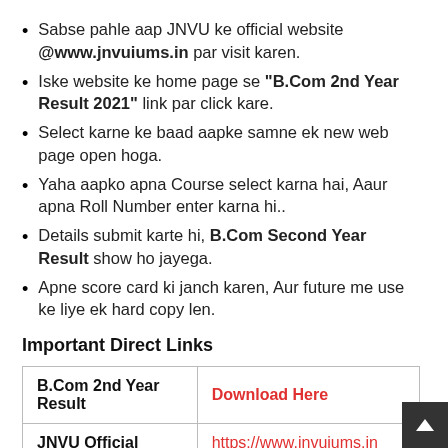Sabse pahle aap JNVU ke official website @www.jnvuiums.in par visit karen.
Iske website ke home page se "B.Com 2nd Year Result 2021" link par click kare.
Select karne ke baad aapke samne ek new web page open hoga.
Yaha aapko apna Course select karna hai, Aaur apna Roll Number enter karna hi..
Details submit karte hi, B.Com Second Year Result show ho jayega.
Apne score card ki janch karen, Aur future me use ke liye ek hard copy len.
Important Direct Links
|  |  |
| --- | --- |
| B.Com 2nd Year Result | Download Here |
| JNVU Official | https://www.jnvuiums.in |